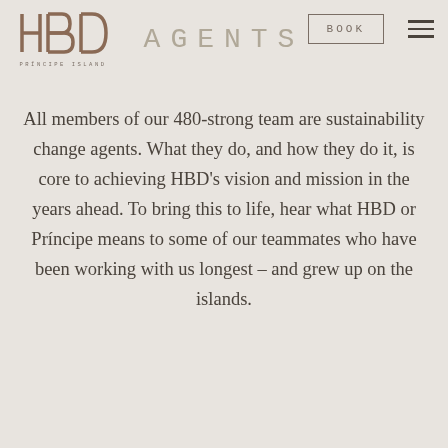[Figure (logo): HBD Príncipe Island logo with stylized H, B, D letters and subtitle 'PRÍNCIPE ISLAND']
AGENTS
[Figure (other): BOOK button (rectangle outline) and hamburger menu icon]
All members of our 480-strong team are sustainability change agents. What they do, and how they do it, is core to achieving HBD's vision and mission in the years ahead. To bring this to life, hear what HBD or Príncipe means to some of our teammates who have been working with us longest – and grew up on the islands.